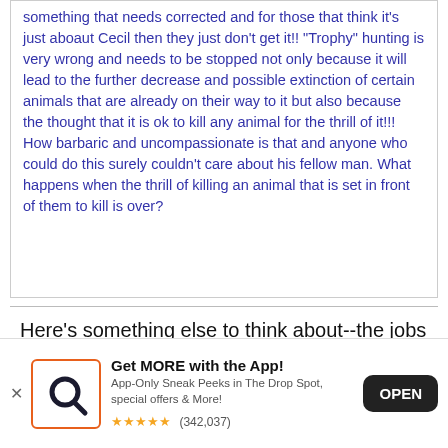something that needs corrected and for those that think it's just aboaut Cecil then they just don't get it!! "Trophy" hunting is very wrong and needs to be stopped not only because it will lead to the further decrease and possible extinction of certain animals that are already on their way to it but also because the thought that it is ok to kill any animal for the thrill of it!!!  How barbaric and uncompassionate is that and anyone who could do this surely couldn't care about his fellow man. What happens when the thrill of killing an animal that is set in front of them to kill is over?
Here's something else to think about--the jobs in these poor countries!  How arrogant are we to focus on this day after day while an entire continent laughs at us?
Get MORE with the App! App-Only Sneak Peeks in The Drop Spot, special offers & More! ★★★★★ (342,037)